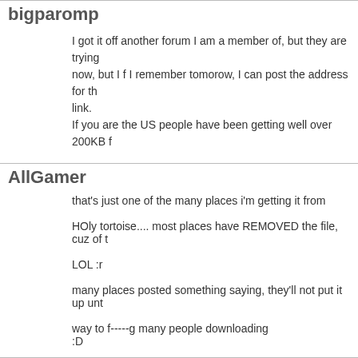bigparomp
I got it off another forum I am a member of, but they are trying now, but I f I remember tomorow, I can post the address for th link.
If you are the US people have been getting well over 200KB f
AllGamer
that's just one of the many places i'm getting it from
HOly tortoise.... most places have REMOVED the file, cuz of t
LOL :r
many places posted something saying, they'll not put it up unt
way to f-----g many people downloading
:D
so now is going still at 88% after like..... hmm... lost track, but
:p